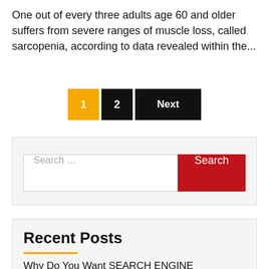One out of every three adults age 60 and older suffers from severe ranges of muscle loss, called sarcopenia, according to data revealed within the...
1  2  Next
Search ...
Recent Posts
Why Do You Want SEARCH ENGINE OPTIMISATION